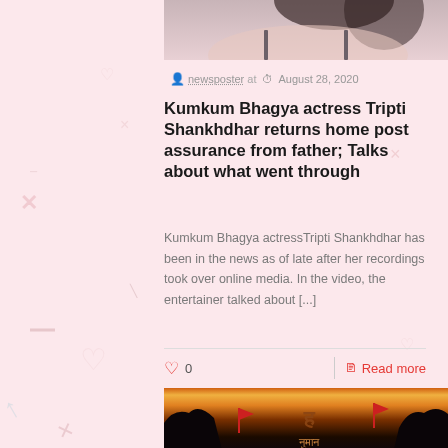[Figure (photo): Partial view of a woman's shoulder and hair against a light background — top portion of article image]
newsposter at  August 28, 2020
Kumkum Bhagya actress Tripti Shankhdhar returns home post assurance from father; Talks about what went through
Kumkum Bhagya actressTripti Shankhdhar has been in the news as of late after her recordings took over online media. In the video, the entertainer talked about [...]
♡ 0    Read more
[Figure (photo): Movie/show poster with Hindi text (Hanuman) against a dramatic sunset background with red flags and rocky landscape]